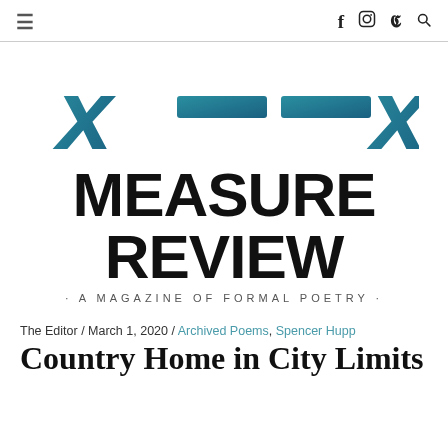≡  f  [instagram]  [twitter]  [search]
[Figure (logo): Measure Review magazine logo: stylized X — — X in teal/blue gradient with two horizontal dashes in the center]
MEASURE REVIEW
· A MAGAZINE OF FORMAL POETRY ·
The Editor / March 1, 2020 / Archived Poems, Spencer Hupp
Country Home in City Limits